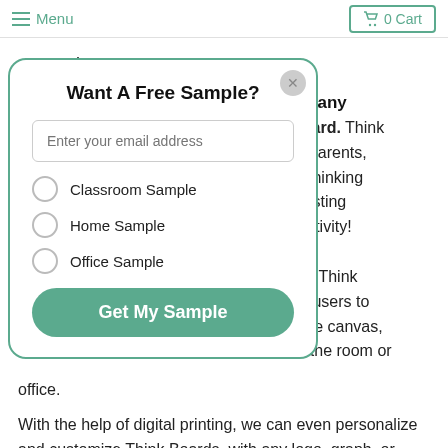Menu | 0 Cart
comes in.
Think Board is a clear film that turns any surface into a whiteboard. Think Board is loved by teachers, parents, and entrepreneurs for its new thinking approach, it can go on any existing surface and encourage creativity!
What makes Think Board different? Think Board's writable film technology allows users to create a dry-erase surface, or dry erase canvas, by applying Think Board to any wall of the room or office.
With the help of digital printing, we can even personalize and customize Think Boards, with any logo, graph, or name. With this technology we
[Figure (screenshot): Modal popup with title 'Want A Free Sample?', an email input field, three radio options (Classroom Sample, Home Sample, Office Sample), and a green 'Get My Sample' button. Modal has teal border and close button.]